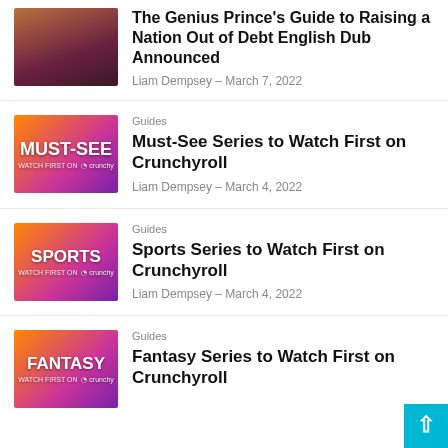The Genius Prince's Guide to Raising a Nation Out of Debt English Dub Announced
Liam Dempsey – March 7, 2022
Guides
Must-See Series to Watch First on Crunchyroll
Liam Dempsey – March 4, 2022
Guides
Sports Series to Watch First on Crunchyroll
Liam Dempsey – March 4, 2022
Guides
Fantasy Series to Watch First on Crunchyroll